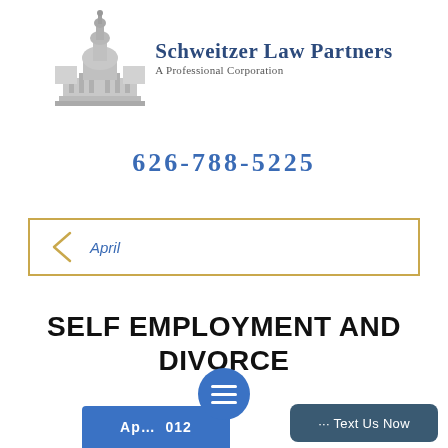[Figure (logo): Schweitzer Law Partners logo with capitol dome building in grayscale and firm name text]
626-788-5225
< April
SELF EMPLOYMENT AND DIVORCE
Ap… 012
··· Text Us Now